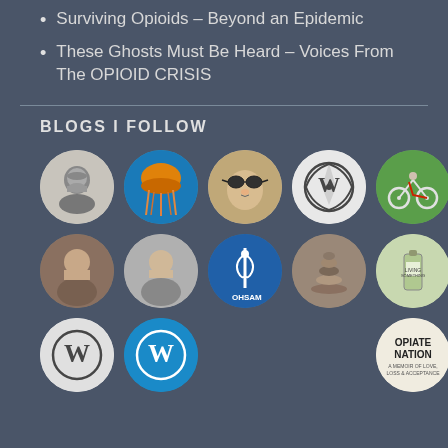Surviving Opioids – Beyond an Epidemic
These Ghosts Must Be Heard – Voices From The OPIOID CRISIS
BLOGS I FOLLOW
[Figure (photo): Grid of circular blog avatar images arranged in three rows of five, showing various blog avatars including a sketch portrait, jellyfish, cat with glasses, WordPress logo, cyclist, woman portrait, man portrait, OHSAM medical logo, stacked stones, perfume bottle, two WordPress logos, and Opiate Nation book cover.]